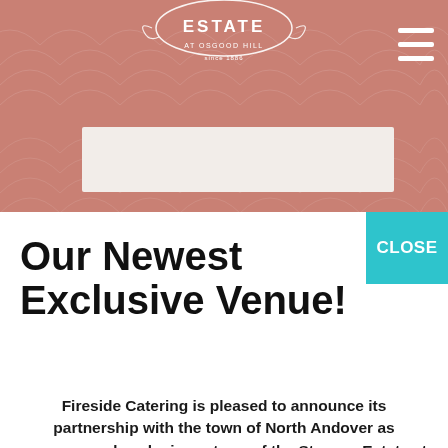[Figure (screenshot): Website header with salmon/terracotta pink background showing the Estate at Osgood Hill logo centered and a hamburger menu icon in the top right corner]
[Figure (screenshot): Partial view of a light beige card/panel in the background behind the popup modal]
Our Newest Exclusive Venue!
[Figure (other): Teal/cyan CLOSE button in top right of modal]
Fireside Catering is pleased to announce its partnership with the town of North Andover as manager and exclusive caterer of the Stevens Estate at Osgood Hill.  Prime dates still available for 2023!
OPEN HOUSE:
Friday, August 12th from 1pm to 6pm & Saturday, August 13th from 11am to 3pm
Can't make the open house? Contact us to set up a private tour 781-739-9541